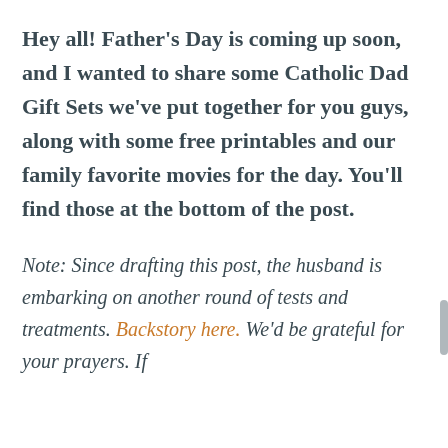Hey all! Father's Day is coming up soon, and I wanted to share some Catholic Dad Gift Sets we've put together for you guys, along with some free printables and our family favorite movies for the day. You'll find those at the bottom of the post.
Note: Since drafting this post, the husband is embarking on another round of tests and treatments. Backstory here. We'd be grateful for your prayers. If